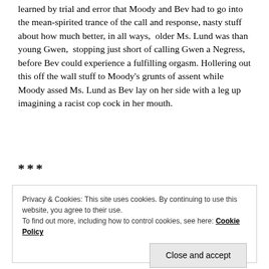learned by trial and error that Moody and Bev had to go into the mean-spirited trance of the call and response, nasty stuff about how much better, in all ways,  older Ms. Lund was than young Gwen,  stopping just short of calling Gwen a Negress, before Bev could experience a fulfilling orgasm. Hollering out this off the wall stuff to Moody's grunts of assent while Moody assed Ms. Lund as Bev lay on her side with a leg up imagining a racist cop cock in her mouth.
***
Privacy & Cookies: This site uses cookies. By continuing to use this website, you agree to their use.
To find out more, including how to control cookies, see here: Cookie Policy